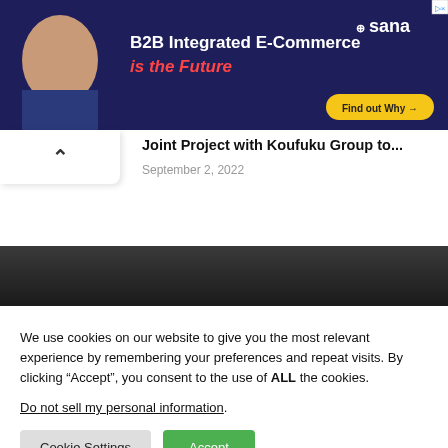[Figure (other): Advertisement banner for Sana Commerce. Dark navy background with a man in a suit on the left, text 'B2B Integrated E-Commerce is the Future' and a 'Find out Why' button. Sana logo in top right.]
Joint Project with Koufuku Group to...
September 2, 2022
We use cookies on our website to give you the most relevant experience by remembering your preferences and repeat visits. By clicking “Accept”, you consent to the use of ALL the cookies.
Do not sell my personal information.
Cookie Settings
Accept